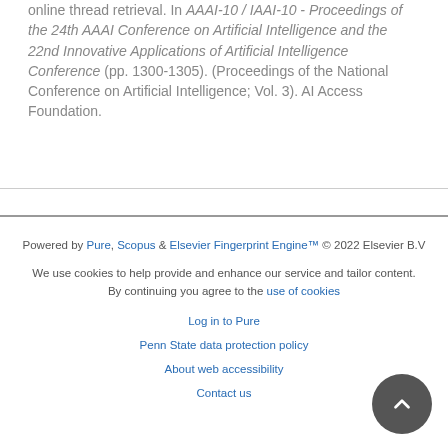online thread retrieval. In AAAI-10 / IAAI-10 - Proceedings of the 24th AAAI Conference on Artificial Intelligence and the 22nd Innovative Applications of Artificial Intelligence Conference (pp. 1300-1305). (Proceedings of the National Conference on Artificial Intelligence; Vol. 3). AI Access Foundation.
Powered by Pure, Scopus & Elsevier Fingerprint Engine™ © 2022 Elsevier B.V
We use cookies to help provide and enhance our service and tailor content. By continuing you agree to the use of cookies
Log in to Pure
Penn State data protection policy
About web accessibility
Contact us